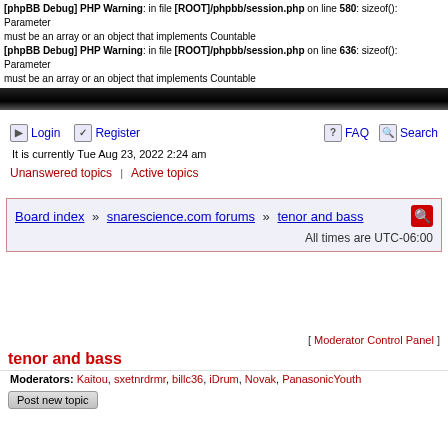[phpBB Debug] PHP Warning: in file [ROOT]/phpbb/session.php on line 580: sizeof(): Parameter must be an array or an object that implements Countable
[phpBB Debug] PHP Warning: in file [ROOT]/phpbb/session.php on line 636: sizeof(): Parameter must be an array or an object that implements Countable
Login | Register | FAQ | Search
It is currently Tue Aug 23, 2022 2:24 am
Unanswered topics | Active topics
Board index » snarescience.com forums » tenor and bass   All times are UTC-06:00
[ Moderator Control Panel ]
tenor and bass
Moderators: Kaitou, sxetnrdrmr, billc36, iDrum, Novak, PanasonicYouth